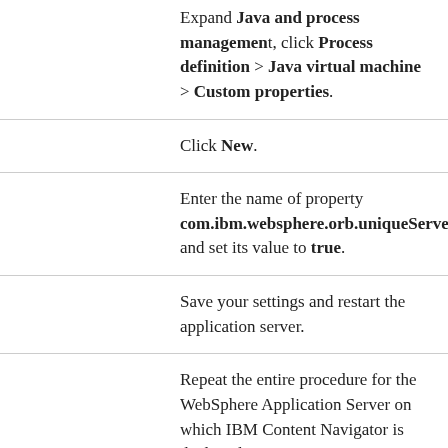Expand Java and process management, click Process definition > Java virtual machine > Custom properties.
Click New.
Enter the name of property com.ibm.websphere.orb.uniqueServer and set its value to true.
Save your settings and restart the application server.
Repeat the entire procedure for the WebSphere Application Server on which IBM Content Navigator is deployed.
Once done, try to create a new repository in IBM Content Navigator admin desktop. Repository will be